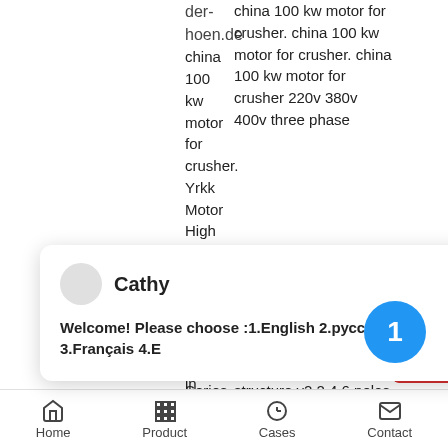der-hoen.de china 100 kw motor for crusher. Yrkk Motor High Voltage Motor Winding Motor manufacturer supplier in China
china 100 kw motor for crusher. china 100 kw motor for crusher. china 100 kw motor for crusher 220v 380v 400v three phase
[Figure (screenshot): Chat widget popup with avatar, name 'Cathy', close button, and message: Welcome! Please choose :1.English 2.русский 3.Français 4.E]
[Figure (screenshot): Red Chat Now button on right edge with chat bubble icon]
Series Squirrel Cage HighVoltage ThreePhase Asynchronous Motor 66kv11kv Yks Series AirWater
structure y2 2 4 6 poles electric with compact construction ideal for the power of compressor fan
[Figure (infographic): Blue circle badge with number 1]
Home   Product   Cases   Contact